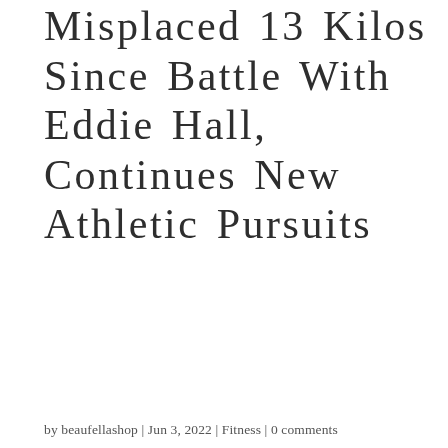Misplaced 13 Kilos Since Battle With Eddie Hall, Continues New Athletic Pursuits
by beaufellashop | Jun 3, 2022 | Fitness | 0 comments